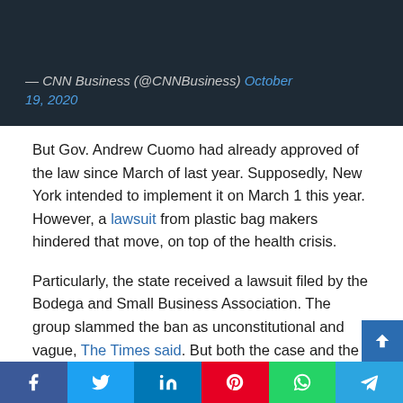[Figure (screenshot): Dark-background tweet attribution block: '— CNN Business (@CNNBusiness) October 19, 2020' with the date as a hyperlink in blue]
But Gov. Andrew Cuomo had already approved of the law since March of last year. Supposedly, New York intended to implement it on March 1 this year. However, a lawsuit from plastic bag makers hindered that move, on top of the health crisis.
Particularly, the state received a lawsuit filed by the Bodega and Small Business Association. The group slammed the ban as unconstitutional and vague, The Times said. But both the case and the ban got delayed because the pandemic limited the number of cases to...
[Figure (other): Social media share bar at the bottom with buttons for Facebook, Twitter, LinkedIn, Pinterest, WhatsApp, and Telegram]